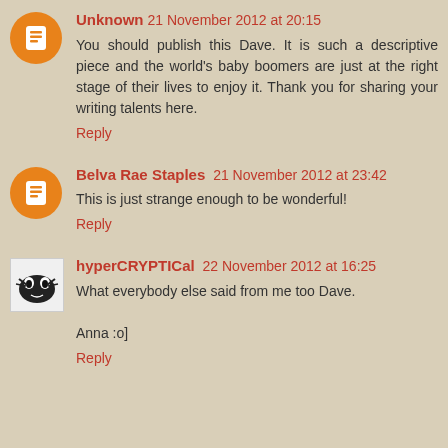Unknown 21 November 2012 at 20:15
You should publish this Dave. It is such a descriptive piece and the world's baby boomers are just at the right stage of their lives to enjoy it. Thank you for sharing your writing talents here.
Reply
Belva Rae Staples 21 November 2012 at 23:42
This is just strange enough to be wonderful!
Reply
hyperCRYPTICal 22 November 2012 at 16:25
What everybody else said from me too Dave.
Anna :o]
Reply